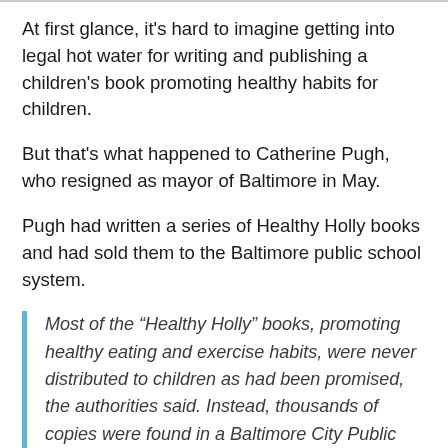At first glance, it's hard to imagine getting into legal hot water for writing and publishing a children's book promoting healthy habits for children.
But that's what happened to Catherine Pugh, who resigned as mayor of Baltimore in May.
Pugh had written a series of Healthy Holly books and had sold them to the Baltimore public school system.
Most of the “Healthy Holly” books, promoting healthy eating and exercise habits, were never distributed to children as had been promised, the authorities said. Instead, thousands of copies were found in a Baltimore City Public School System warehouse; others were stored in Ms. Pugh’s offices and in one of her houses.
Federal prosecutors said the children’s book series